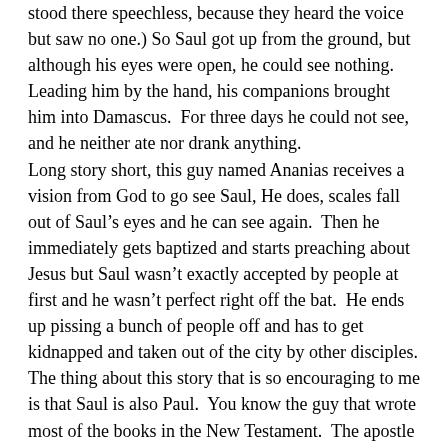stood there speechless, because they heard the voice but saw no one.) So Saul got up from the ground, but although his eyes were open, he could see nothing. Leading him by the hand, his companions brought him into Damascus.  For three days he could not see, and he neither ate nor drank anything.
Long story short, this guy named Ananias receives a vision from God to go see Saul, He does, scales fall out of Saul’s eyes and he can see again.  Then he immediately gets baptized and starts preaching about Jesus but Saul wasn’t exactly accepted by people at first and he wasn’t perfect right off the bat.  He ends up pissing a bunch of people off and has to get kidnapped and taken out of the city by other disciples.
The thing about this story that is so encouraging to me is that Saul is also Paul.  You know the guy that wrote most of the books in the New Testament.  The apostle to the Gentiles.  Early on in his life he got blinded by poor theology and made mistakes and yet… God still used him.  And Saul AKA Paul, ended up becoming one of the most influential missionaries and  Christians of all time.
God used a guy who was wrong.  And it wasn’t just that he explained the trinity incorrectly or had a misguided view on some obscure theology like millennial view.  He was sanctioning the murder of